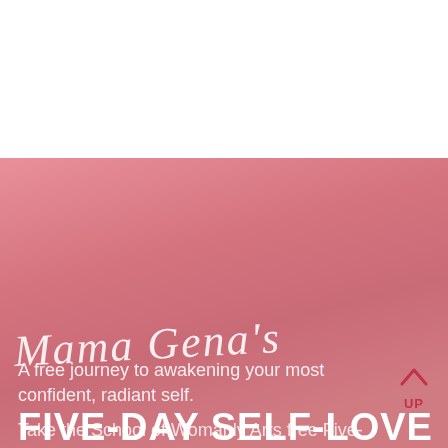[Figure (illustration): White top section transitioning into a pink gradient background, representing a promotional course page design.]
Mama Gena's FIVE-DAY SELF-LOVE MINI-COURSE
A free journey to awakening your most confident, radiant self.
Take the School of Womanly Arts free Five-